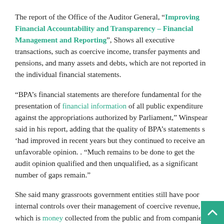The report of the Office of the Auditor General, “Improving Financial Accountability and Transparency – Financial Management and Reporting”, Shows all executive transactions, such as coercive income, transfer payments and pensions, and many assets and debts, which are not reported in the individual financial statements.
“BPA’s financial statements are therefore fundamental for the presentation of financial information of all public expenditure against the appropriations authorized by Parliament,” Winspear said in his report, adding that the quality of BPA’s statements s ‘had improved in recent years but they continued to receive an unfavorable opinion. . “Much remains to be done to get the audit opinion qualified and then unqualified, as a significant number of gaps remain.”
She said many grassroots government entities still have poor internal controls over their management of coercive revenue, which is money collected from the public and from companies